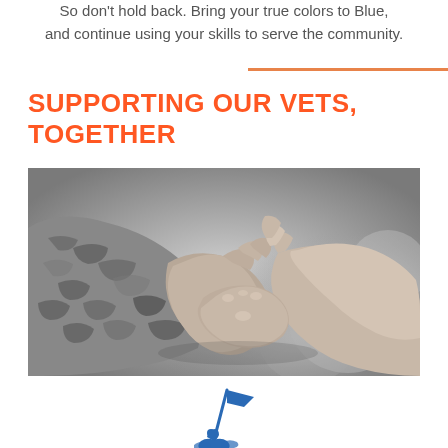So don't hold back. Bring your true colors to Blue, and continue using your skills to serve the community.
SUPPORTING OUR VETS, TOGETHER
[Figure (photo): Black and white photograph of two people shaking hands, one wearing military camouflage uniform sleeve.]
[Figure (illustration): Blue line-art icon of a person holding a flag, appearing to climb or stand on a surface.]